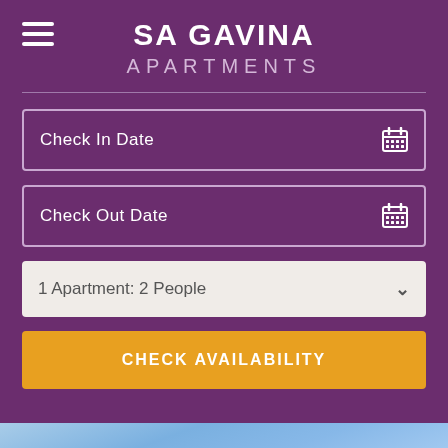SA GAVINA APARTMENTS
Check In Date
Check Out Date
1 Apartment: 2 People
CHECK AVAILABILITY